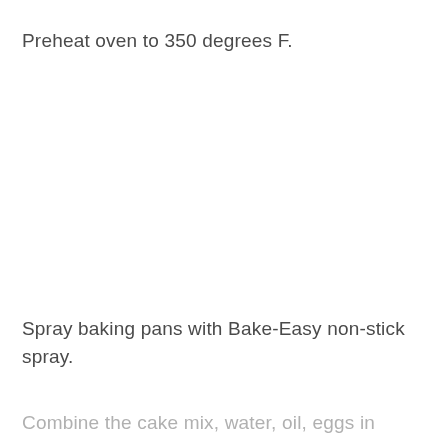Preheat oven to 350 degrees F.
Spray baking pans with Bake-Easy non-stick spray.
Combine the cake mix, water, oil, eggs in